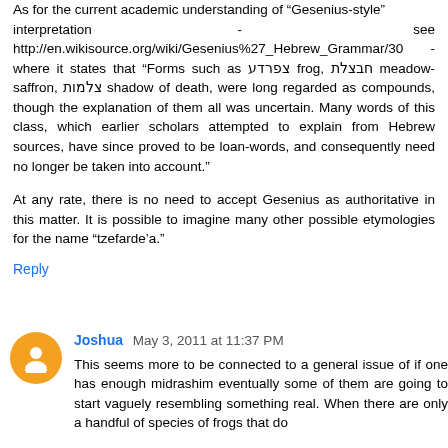As for the current academic understanding of "Gesenius-style" interpretation - see http://en.wikisource.org/wiki/Gesenius%27_Hebrew_Grammar/30 - where it states that “Forms such as צפרדע frog, חבצלת meadow-saffron, צלמות shadow of death, were long regarded as compounds, though the explanation of them all was uncertain. Many words of this class, which earlier scholars attempted to explain from Hebrew sources, have since proved to be loan-words, and consequently need no longer be taken into account.”

At any rate, there is no need to accept Gesenius as authoritative in this matter. It is possible to imagine many other possible etymologies for the name “tzefarde’a.”
Reply
Joshua May 3, 2011 at 11:37 PM
This seems more to be connected to a general issue of if one has enough midrashim eventually some of them are going to start vaguely resembling something real. When there are only a handful of species of frogs that do